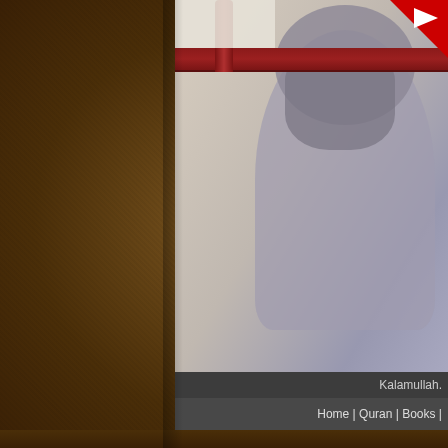[Figure (screenshot): YouTube video thumbnail showing a person with a long gray beard wearing a white garment, with a wooden railing visible in the background. A 'Watch on YouTube' overlay bar appears at the bottom of the video frame, and a red YouTube logo badge is visible in the top-right corner.]
Related
The Weakest Home | Domestic Violence
Muslim Spoken Word
Kalamullah.
Home | Quran | Books |